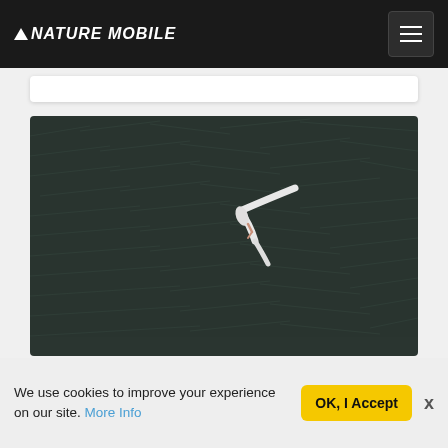NATURE MOBILE
[Figure (photo): A white seagull or similar bird in flight, wings spread in a V-shape, photographed from above against a dark textured water or ground surface]
We use cookies to improve your experience on our site. More Info